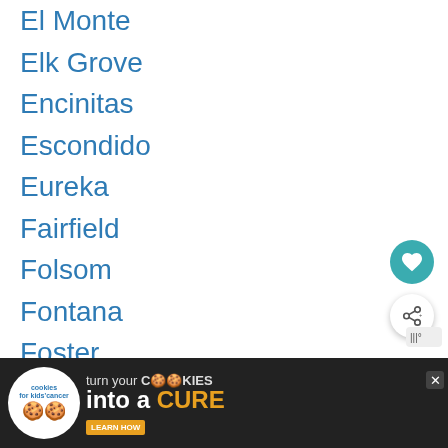El Monte
Elk Grove
Encinitas
Escondido
Eureka
Fairfield
Folsom
Fontana
Foster
Fountain Valley
Fremont
Fresno
Fullerton
Garden Grove
G...